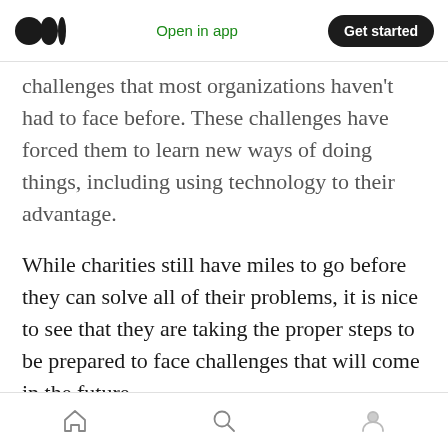Open in app | Get started
challenges that most organizations haven't had to face before. These challenges have forced them to learn new ways of doing things, including using technology to their advantage.
While charities still have miles to go before they can solve all of their problems, it is nice to see that they are taking the proper steps to be prepared to face challenges that will come in the future.
We hope that the struggling nonprofits can get
Home | Search | Profile